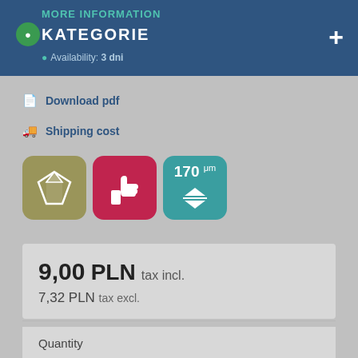MORE INFORMATION KATEGORIE • Availability: 3 dni
Download pdf
Shipping cost
[Figure (illustration): Three icon badges: a diamond gem icon on olive/gold background, a thumbs-up icon on dark red background, and a '170 μm' thickness icon on teal background]
9,00 PLN tax incl.
7,32 PLN tax excl.
Quantity
Quantity: — +
To cart